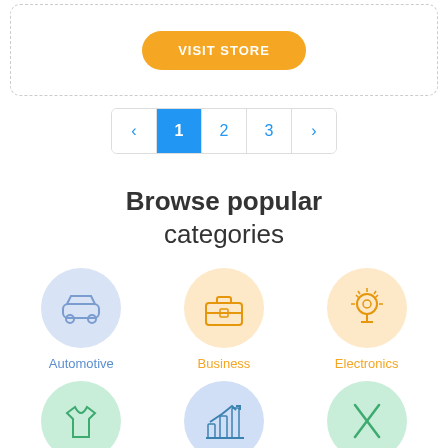[Figure (other): VISIT STORE button inside a dashed border box]
‹ 1 2 3 ›  (pagination, page 1 active)
Browse popular categories
[Figure (infographic): Category icons grid: Automotive (car icon, blue circle), Business (briefcase icon, orange circle), Electronics (lightbulb icon, orange circle), Fashion (t-shirt icon, green circle), Finance (bar chart icon, blue circle), Food (fork and knife icon, green circle)]